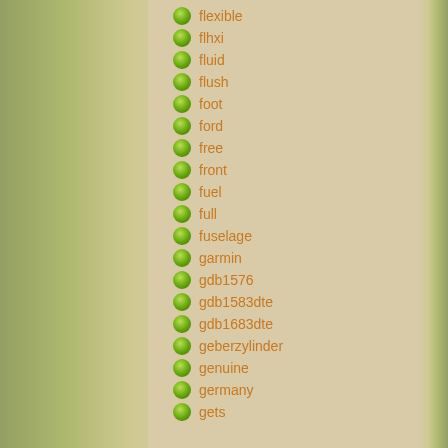flexible
flhxi
fluid
flush
foot
ford
free
front
fuel
full
fuselage
garmin
gdb1576
gdb1583dte
gdb1683dte
geberzylinder
genuine
germany
gets